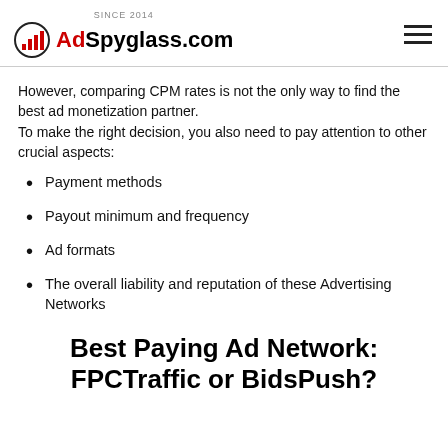SINCE 2014 AdSpyglass.com
However, comparing CPM rates is not the only way to find the best ad monetization partner.
To make the right decision, you also need to pay attention to other crucial aspects:
Payment methods
Payout minimum and frequency
Ad formats
The overall liability and reputation of these Advertising Networks
Best Paying Ad Network: FPCTraffic or BidsPush?